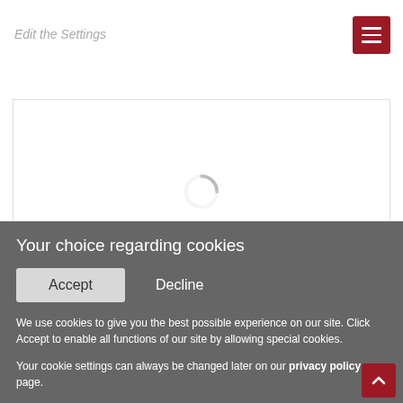Edit the Settings
[Figure (screenshot): Loading spinner icon (grey arc) centered in a white content area with light border]
Your choice regarding cookies
Accept
Decline
We use cookies to give you the best possible experience on our site. Click Accept to enable all functions of our site by allowing special cookies.
Your cookie settings can always be changed later on our privacy policy page.